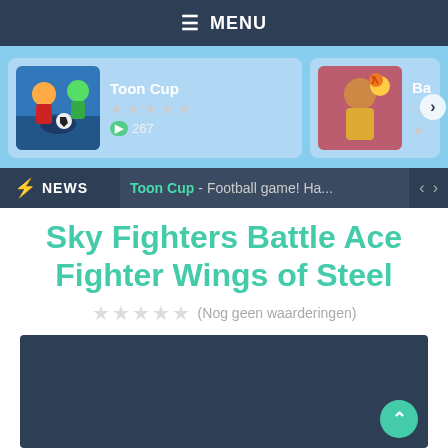☰ MENU
[Figure (screenshot): Game carousel showing Toon Cup and Basketball game thumbnails]
NEWS  Toon Cup - Football game! Ha...
Sky Fighters Battle Ace Fighter Wings of Steel
★★★★★ (Nog geen waarderingen)
[Figure (screenshot): Dark blue game preview area for Sky Fighters Battle Ace Fighter Wings of Steel]